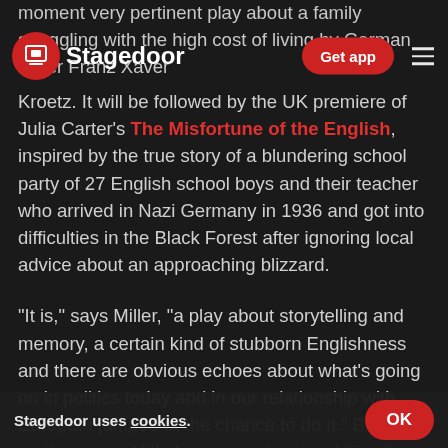Stagedoor
moment very pertinent play about a family struggling with the high cost of living by German writer Franz Xaver Kroetz. It will be followed by the UK premiere of Julia Carter's The Misfortune of the English, inspired by the true story of a blundering school party of 27 English school boys and their teacher who arrived in Nazi Germany in 1936 and got into difficulties in the Black Forest after ignoring local advice about an approaching blizzard.
“It is,” says Miller, “a play about storytelling and memory, a certain kind of stubborn Englishness and there are obvious echoes about what’s going on in politics today and in our relationship with Europe. I jumped at the chance to do it.” Bringing up the rear is Miller’s own production of The False Servant, a deliciously vicious 18th century comedy in a version by local writer, Martin Crimp, whose illustrious international career began at the Orange Tree in the early 1990s and last f
Stagedoor uses cookies.